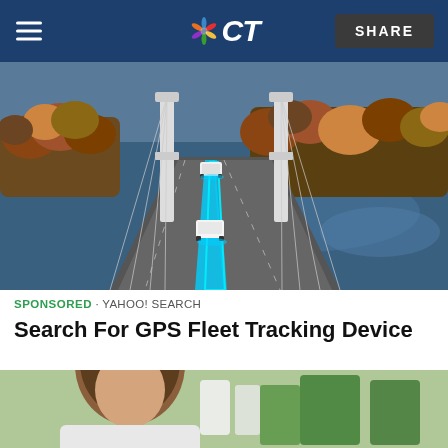NBC CT — SHARE
[Figure (photo): Aerial view of a suspension bridge over a blue river with autumn-colored trees on the banks. White vans/trucks drive across the bridge with glowing blue digital tracking lines overlaid.]
SPONSORED · YAHOO! SEARCH
Search For GPS Fleet Tracking Device
[Figure (photo): Partial view of a woman with brown hair in what appears to be a laboratory or store setting with green and white items in the background.]